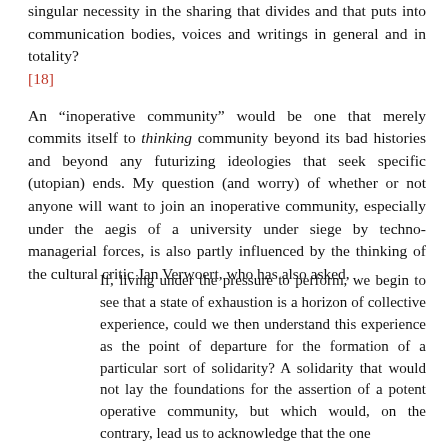singular necessity in the sharing that divides and that puts into communication bodies, voices and writings in general and in totality? [18]
An “inoperative community” would be one that merely commits itself to thinking community beyond its bad histories and beyond any futurizing ideologies that seek specific (utopian) ends. My question (and worry) of whether or not anyone will want to join an inoperative community, especially under the aegis of a university under siege by techno-managerial forces, is also partly influenced by the thinking of the cultural critic Jan Verwoert, who has also asked,
If, living under the pressure to perform, we begin to see that a state of exhaustion is a horizon of collective experience, could we then understand this experience as the point of departure for the formation of a particular sort of solidarity? A solidarity that would not lay the foundations for the assertion of a potent operative community, but which would, on the contrary, lead us to acknowledge that the one